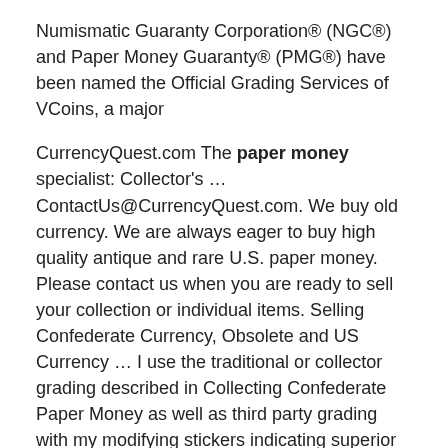Numismatic Guaranty Corporation® (NGC®) and Paper Money Guaranty® (PMG®) have been named the Official Grading Services of VCoins, a major
CurrencyQuest.com The paper money specialist: Collector's … ContactUs@CurrencyQuest.com. We buy old currency. We are always eager to buy high quality antique and rare U.S. paper money. Please contact us when you are ready to sell your collection or individual items. Selling Confederate Currency, Obsolete and US Currency … I use the traditional or collector grading described in Collecting Confederate Paper Money as well as third party grading with my modifying stickers indicating superior notes - plus, choice and gem for the grade. Confederate money for sale – List 97 - April 2019. Confederate money for sale - List 99 - April 2019 Paper Money for Collectors - donckelly.com donckelly.com offers for sale US Paper Money for Collectors, including national bank notes, silver certificates, gold certificates, fractional currency, colonial currency, and confederate currency